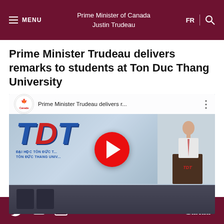MENU | Prime Minister of Canada Justin Trudeau | FR
Prime Minister Trudeau delivers remarks to students at Ton Duc Thang University
[Figure (screenshot): YouTube video thumbnail showing Prime Minister Trudeau speaking at a podium at Ton Duc Thang University, with TDT logo visible in background. Video title: 'Prime Minister Trudeau delivers r...' with Canada YouTube channel logo.]
Twitter | YouTube | Email | Canadä